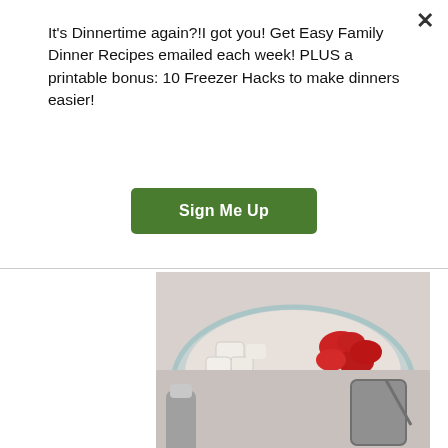It's Dinnertime again?!I got you! Get Easy Family Dinner Recipes emailed each week! PLUS a printable bonus: 10 Freezer Hacks to make dinners easier!
Sign Me Up
[Figure (photo): Top-down view of a glass bowl containing chopped white onions and red bell peppers on a light surface.]
[Figure (photo): Top-down view of a glass bowl with raw ground meat mixed with chopped vegetables, surrounded by kitchen utensils including measuring cups on a marble surface.]